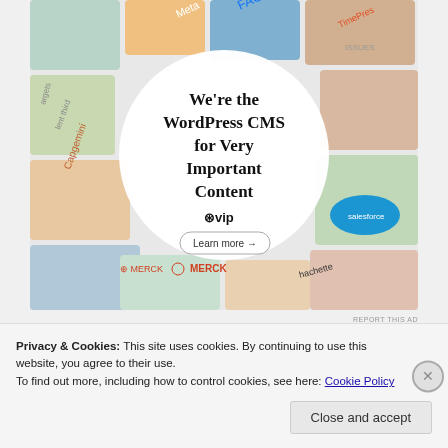[Figure (screenshot): WordPress VIP advertisement showing 'We're the WordPress CMS for Very Important Content' with WP VIP logo and 'Learn more' button, surrounded by colorful brand logos including Meta, Facebook, Merck, Salesforce, Capgemini, Hachette]
REPORT THIS AD
SHARE THIS:
Twitter  Facebook
Privacy & Cookies: This site uses cookies. By continuing to use this website, you agree to their use.
To find out more, including how to control cookies, see here: Cookie Policy
Close and accept